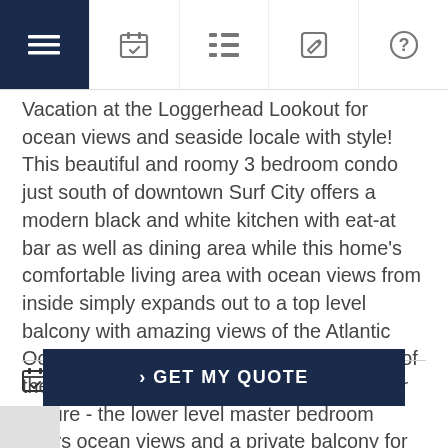Navigation bar with menu, calendar, list, edit, and help icons
Vacation at the Loggerhead Lookout for ocean views and seaside locale with style! This beautiful and roomy 3 bedroom condo just south of downtown Surf City offers a modern black and white kitchen with eat-at bar as well as dining area while this home's comfortable living area with ocean views from inside simply expands out to a top level balcony with amazing views of the Atlantic Ocean just across the street! Step into one of the three nicely appointed bedrooms at your leisure - the lower level master bedroom offers ocean views and a private balcony for your enjoyment! Community pool, nearby community ...Show More
Calendar